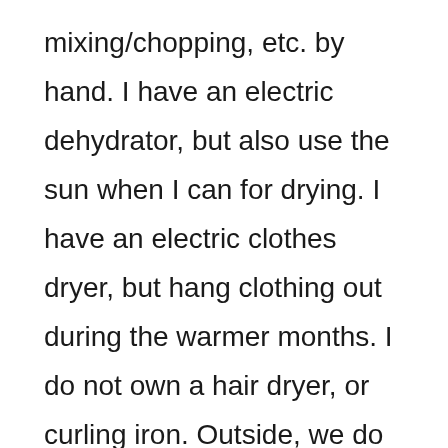mixing/chopping, etc. by hand. I have an electric dehydrator, but also use the sun when I can for drying. I have an electric clothes dryer, but hang clothing out during the warmer months. I do not own a hair dryer, or curling iron. Outside, we do use a tractor with a bucket, manure spreader and a harrow. Our gardens are all raised bed, no till. 8. Our choice to